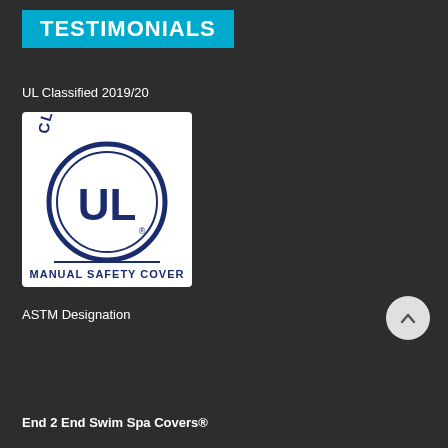TESTIMONIALS
UL Classified 2019/20
[Figure (logo): UL Classified Manual Safety Cover circular logo with dark navy blue text and border on white background]
ASTM Designation
End 2 End Swim Spa Covers®